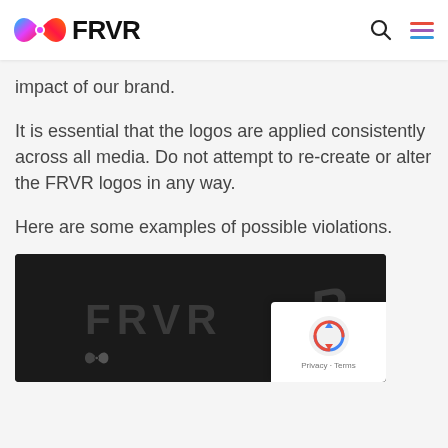[Figure (logo): FRVR logo with colorful infinity symbol and bold FRVR text, plus search and hamburger menu icons in header]
impact of our brand.
It is essential that the logos are applied consistently across all media. Do not attempt to re-create or alter the FRVR logos in any way.
Here are some examples of possible violations.
[Figure (screenshot): Dark background image showing FRVR text logo variations in dark gray on black, with a small colorful infinity logo at bottom left and a stylized R mark at right]